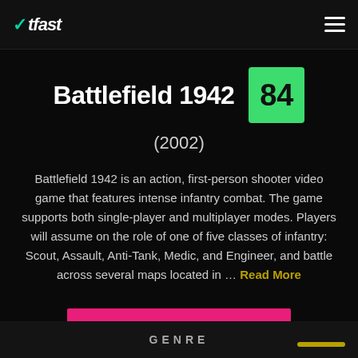WTfast
Battlefield 1942  84
(2002)
Battlefield 1942 is an action, first-person shooter video game that features intense infantry combat. The game supports both single-player and multiplayer modes. Players will assume on the role of one of five classes of infantry: Scout, Assault, Anti-Tank, Medic, and Engineer, and battle across several maps located in … Read More
RETIRED
GENRE